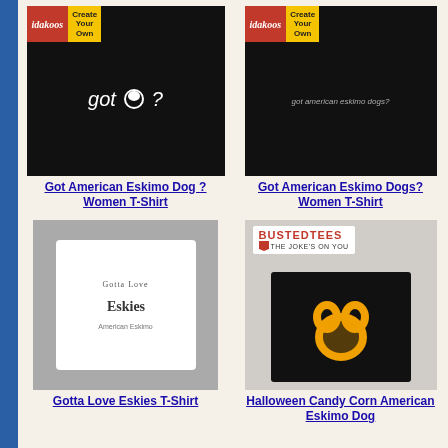[Figure (photo): Black t-shirt with 'got [dog silhouette] ?' text on woman model, idakoos Create Your Own banner]
Got American Eskimo Dog ? Women T-Shirt
[Figure (photo): Black t-shirt with 'got american eskimo dogs?' text on woman model, idakoos Create Your Own banner]
Got American Eskimo Dogs? Women T-Shirt
[Figure (photo): White t-shirt with 'Gotta Love Eskies' text on woman model]
Gotta Love Eskies T-Shirt
[Figure (photo): Black t-shirt with Halloween Candy Corn American Eskimo Dog design, BustedTees banner]
Halloween Candy Corn American Eskimo Dog